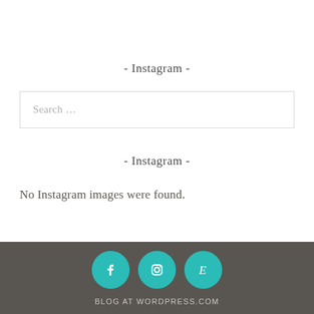- Instagram -
Search …
- Instagram -
No Instagram images were found.
[Figure (other): Three teal circular social media icons: Facebook, Instagram, and Etsy]
BLOG AT WORDPRESS.COM